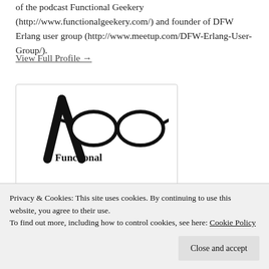of the podcast Functional Geekery (http://www.functionalgeekery.com/) and founder of DFW Erlang user group (http://www.meetup.com/DFW-Erlang-User-Group/).
View Full Profile →
[Figure (logo): Functional Geekery logo: a lambda symbol with thick-framed glasses and the word 'Functional' below]
Privacy & Cookies: This site uses cookies. By continuing to use this website, you agree to their use.
To find out more, including how to control cookies, see here: Cookie Policy
Close and accept